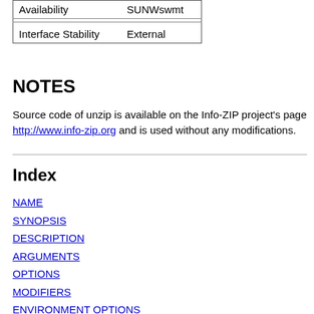| Availability | SUNWswmt |
|  |  |
| Interface Stability | External |
NOTES
Source code of unzip is available on the Info-ZIP project's page http://www.info-zip.org and is used without any modifications.
Index
NAME
SYNOPSIS
DESCRIPTION
ARGUMENTS
OPTIONS
MODIFIERS
ENVIRONMENT OPTIONS